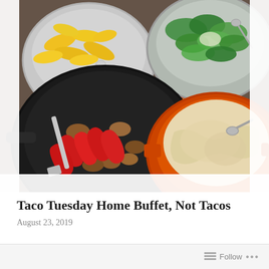[Figure (photo): Overhead view of a taco Tuesday home buffet spread showing: a silver bowl with yellow banana peppers on the left, a bowl with green salad on the upper right, a black skillet with sautéed chicken and red bell pepper strips, and a large orange Le Creuset pot with creamy white mashed filling, all arranged on a colorful striped cloth.]
Taco Tuesday Home Buffet, Not Tacos
August 23, 2019
Follow ...